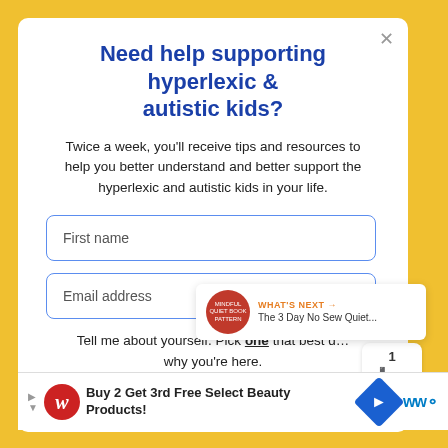Need help supporting hyperlexic & autistic kids?
Twice a week, you'll receive tips and resources to help you better understand and better support the hyperlexic and autistic kids in your life.
First name
Email address
Tell me about yourself. Pick one that best describes why you're here.
I'm a parent or grandparent
[Figure (screenshot): What's Next promo: The 3 Day No Sew Quiet...]
[Figure (screenshot): Advertisement: Buy 2 Get 3rd Free Select Beauty Products! - Walgreens ad with navigation icons]